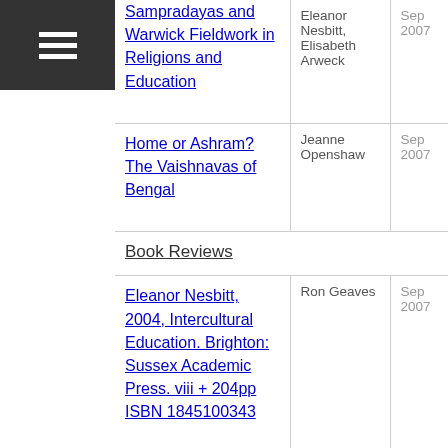Sampradayas and Warwick Fieldwork in Religions and Education
Home or Ashram? The Vaishnavas of Bengal
Book Reviews
Eleanor Nesbitt, 2004, Intercultural Education. Brighton: Sussex Academic Press. viii + 204pp ISBN 1845100343